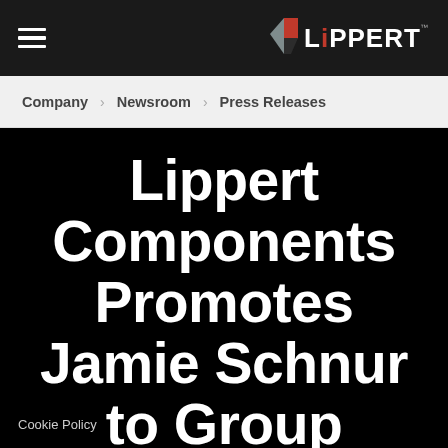≡  LIPPERT
Company  Newsroom  Press Releases
Lippert Components Promotes Jamie Schnur to Group President
Cookie Policy